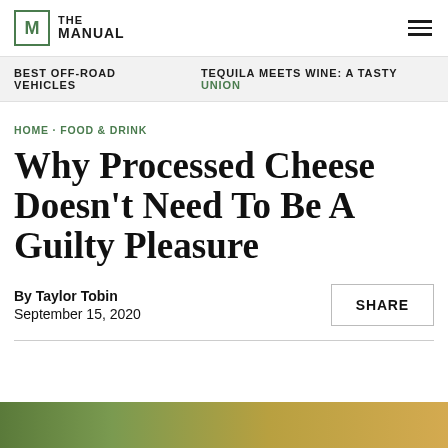THE MANUAL
BEST OFF-ROAD VEHICLES  TEQUILA MEETS WINE: A TASTY UNION
HOME · FOOD & DRINK
Why Processed Cheese Doesn't Need To Be A Guilty Pleasure
By Taylor Tobin
September 15, 2020
[Figure (photo): Bottom portion of page showing a blurred green and gold background image of food]